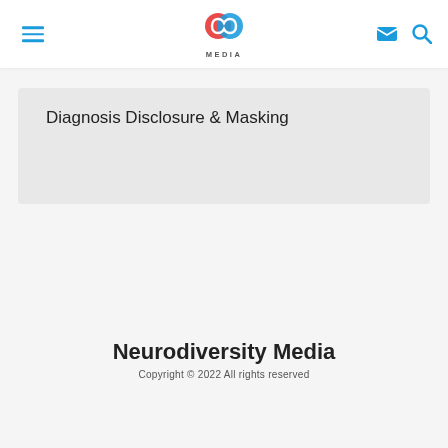Neurodiversity Media
Diagnosis Disclosure & Masking
Neurodiversity Media
Copyright © 2022 All rights reserved